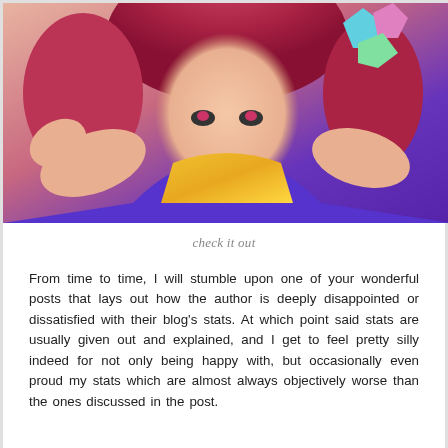[Figure (illustration): Anime character with red/pink hair, wearing a blue and yellow outfit, pointing finger toward viewer with a smirk. Bright colorful style from No Game No Life or similar anime.]
check it out
From time to time, I will stumble upon one of your wonderful posts that lays out how the author is deeply disappointed or dissatisfied with their blog's stats. At which point said stats are usually given out and explained, and I get to feel pretty silly indeed for not only being happy with, but occasionally even proud my stats which are almost always objectively worse than the ones discussed in the post.